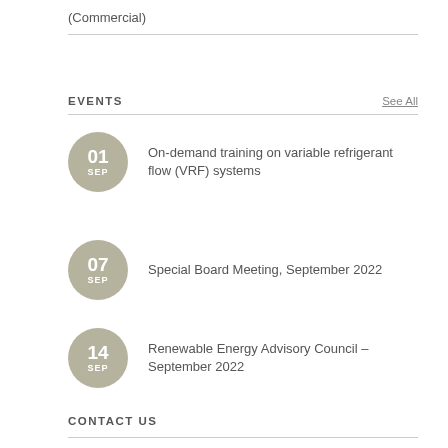(Commercial)
EVENTS
See All
01 SEP — On-demand training on variable refrigerant flow (VRF) systems
07 SEP — Special Board Meeting, September 2022
14 SEP — Renewable Energy Advisory Council – September 2022
CONTACT US